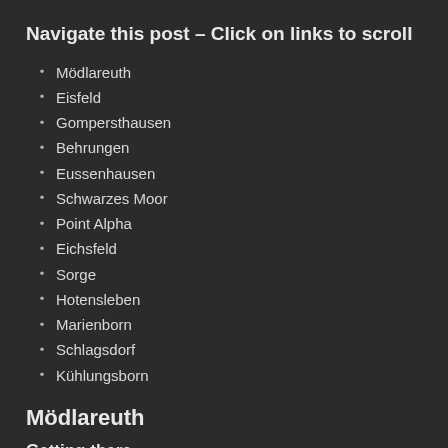Navigate this post – Click on links to scroll
Mödlareuth
Eisfeld
Gompersthausen
Behrungen
Eussenhausen
Schwarzes Moor
Point Alpha
Eichsfeld
Sorge
Hotensleben
Marienborn
Schlagsdorf
Kühlungsborn
Mödlareuth
Getting there
Mödlareuth is actually the name of a small village placed along the former Inner Border between Bavaria and Thuringia. The